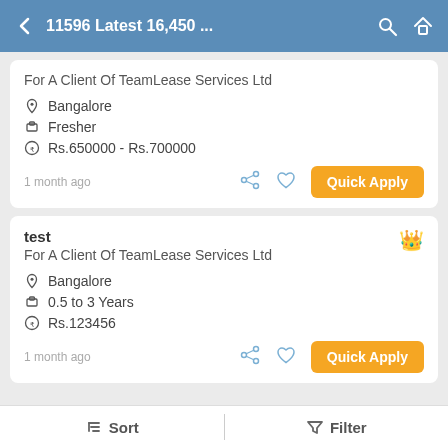11596 Latest 16,450 ...
For A Client Of TeamLease Services Ltd
Bangalore
Fresher
Rs.650000 - Rs.700000
1 month ago
Quick Apply
test
For A Client Of TeamLease Services Ltd
Bangalore
0.5 to 3 Years
Rs.123456
1 month ago
Quick Apply
Sort  Filter